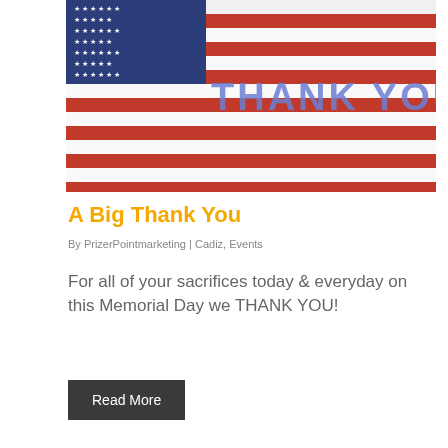[Figure (photo): American flag waving with 'THANK YOU' text overlaid in blue letters]
A Big Thank You
By PrizerPointmarketing | Cadiz, Events
For all of your sacrifices today & everyday on this Memorial Day we THANK YOU!
Read More